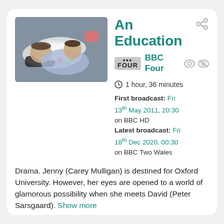[Figure (photo): Photo of two people lying on the ground, one in a white shirt and one in a floral dress, looking upward]
An Education
BBC Four
1 hour, 36 minutes
First broadcast: Fri 13th May 2011, 20:30 on BBC HD
Latest broadcast: Fri 18th Dec 2020, 00:30 on BBC Two Wales
Drama. Jenny (Carey Mulligan) is destined for Oxford University. However, her eyes are opened to a world of glamorous possibility when she meets David (Peter Sarsgaard). Show more